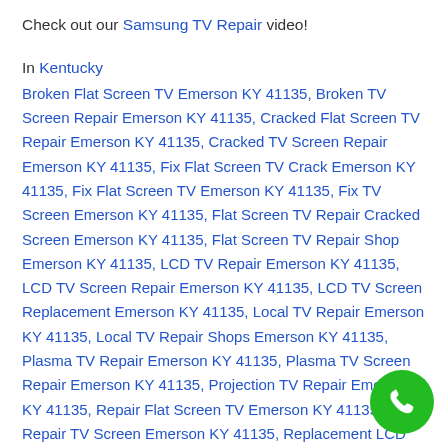Check out our Samsung TV Repair video!
In Kentucky
Broken Flat Screen TV Emerson KY 41135, Broken TV Screen Repair Emerson KY 41135, Cracked Flat Screen TV Repair Emerson KY 41135, Cracked TV Screen Repair Emerson KY 41135, Fix Flat Screen TV Crack Emerson KY 41135, Fix Flat Screen TV Emerson KY 41135, Fix TV Screen Emerson KY 41135, Flat Screen TV Repair Cracked Screen Emerson KY 41135, Flat Screen TV Repair Shop Emerson KY 41135, LCD TV Repair Emerson KY 41135, LCD TV Screen Repair Emerson KY 41135, LCD TV Screen Replacement Emerson KY 41135, Local TV Repair Emerson KY 41135, Local TV Repair Shops Emerson KY 41135, Plasma TV Repair Emerson KY 41135, Plasma TV Screen Repair Emerson KY 41135, Projection TV Repair Emerson KY 41135, Repair Flat Screen TV Emerson KY 41135, Repair TV Screen Emerson KY 41135, Replacement LCD TV Screen Emerson KY 41135, Replacement TV Screens Emerson KY 41135, TV Fixing Service Emerson KY 41135, TV Repair Company Emerson KY 41135, TV Repair Emerson KY 41135, TV Repair Near Me Emerson KY 41135, TV